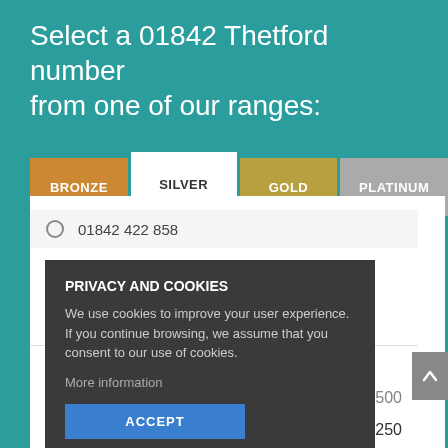Select a 01842 Thetford number from one of our ranges:
| BRONZE | SILVER | GOLD | PLATINUM |
| --- | --- | --- | --- |
01842 422 858
01842 422 868
Early Bird Offer
Free Monthly Inclusive Minutes
UK Landline 500
UK Mobile 250
PRIVACY AND COOKIES
We use cookies to improve your user experience. If you continue browsing, we assume that you consent to our use of cookies.
More information
ACCEPT